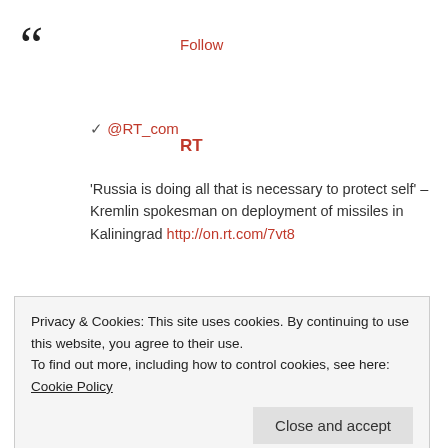[Figure (other): Large opening quotation mark symbol in dark color]
Follow
RT
✓ @RT_com
'Russia is doing all that is necessary to protect self' – Kremlin spokesman on deployment of missiles in Kaliningrad http://on.rt.com/7vt8
9:10 AM – 22 Nov 2016
Photo published for Russia has right to defend against 'aggressive' NATO – Kremlin on Baltic missile placement — RT News
Privacy & Cookies: This site uses cookies. By continuing to use this website, you agree to their use.
To find out more, including how to control cookies, see here: Cookie Policy
Close and accept
Peskov said, commenting on the deployment of